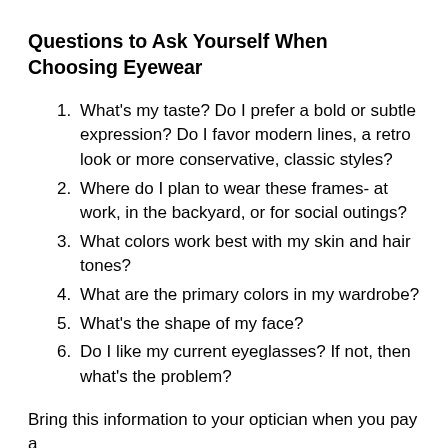Questions to Ask Yourself When Choosing Eyewear
What's my taste? Do I prefer a bold or subtle expression? Do I favor modern lines, a retro look or more conservative, classic styles?
Where do I plan to wear these frames- at work, in the backyard, or for social outings?
What colors work best with my skin and hair tones?
What are the primary colors in my wardrobe?
What's the shape of my face?
Do I like my current eyeglasses? If not, then what's the problem?
Bring this information to your optician when you pay a